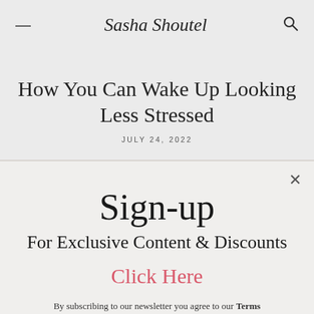≡  Sasha Shoutel  🔍
How You Can Wake Up Looking Less Stressed
JULY 24, 2022
Sign-up
For Exclusive Content & Discounts
Click Here
By subscribing to our newsletter you agree to our Terms and Conditions and Privacy Policy